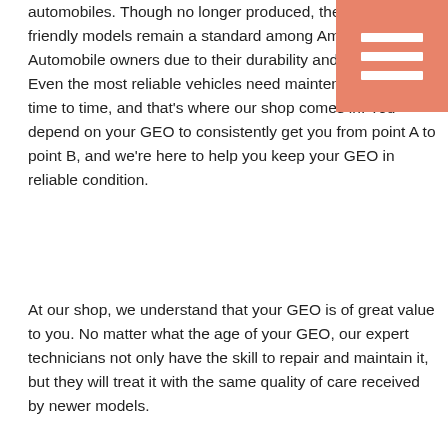automobiles. Though no longer produced, these commuter-friendly models remain a standard among American Automobile owners due to their durability and dependability. Even the most reliable vehicles need maintenance from time to time, and that's where our shop comes in. You depend on your GEO to consistently get you from point A to point B, and we're here to help you keep your GEO in reliable condition.
At our shop, we understand that your GEO is of great value to you. No matter what the age of your GEO, our expert technicians not only have the skill to repair and maintain it, but they will treat it with the same quality of care received by newer models.
Whether you drive a Metro, a Prizm, a Spectrum, a Storm, or a Tracker, our mechanics stand ready to service your GEO with either routine maintenance or major repairs. Our focus isn't solely the mechanics. Our shop is dedicated to providing you with unrivaled customer service.
Our certified technicians are always happy to answer any of your questions, and we work hard to get you and your GEO back on the road as quickly as possible!